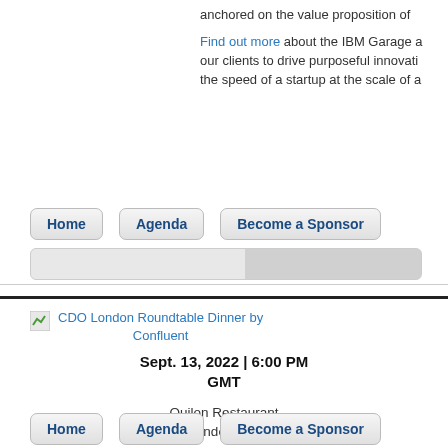anchored on the value proposition of
Find out more about the IBM Garage our clients to drive purposeful innovation the speed of a startup at the scale of a
Home
Agenda
Become a Sponsor
[Figure (screenshot): Gray gradient box split into two panels]
[Figure (logo): CDO London Roundtable Dinner by Confluent event logo/icon]
CDO London Roundtable Dinner by Confluent
Sept. 13, 2022 | 6:00 PM GMT
Quilon Restaurant
London, UK
Home
Agenda
Become a Sponsor